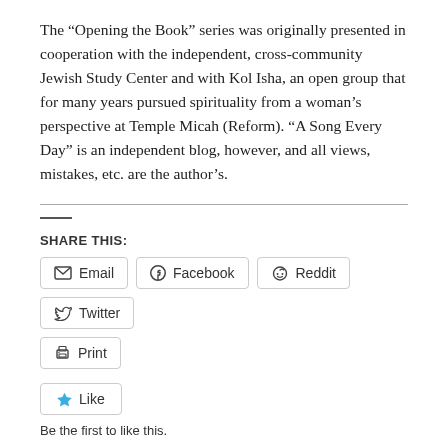The “Opening the Book” series was originally presented in cooperation with the independent, cross-community Jewish Study Center and with Kol Isha, an open group that for many years pursued spirituality from a woman’s perspective at Temple Micah (Reform). “A Song Every Day” is an independent blog, however, and all views, mistakes, etc. are the author’s.
SHARE THIS:
Email  Facebook  Reddit  Twitter  Print
Like
Be the first to like this.